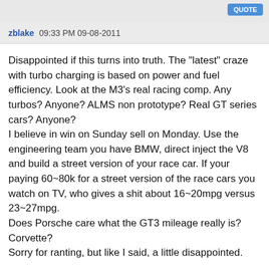QUOTE
zblake 09:33 PM 09-08-2011
Disappointed if this turns into truth. The "latest" craze with turbo charging is based on power and fuel efficiency. Look at the M3's real racing comp. Any turbos? Anyone? ALMS non prototype? Real GT series cars? Anyone?
I believe in win on Sunday sell on Monday. Use the engineering team you have BMW, direct inject the V8 and build a street version of your race car. If your paying 60~80k for a street version of the race cars you watch on TV, who gives a shit about 16~20mpg versus 23~27mpg.
Does Porsche care what the GT3 mileage really is? Corvette?
Sorry for ranting, but like I said, a little disappointed.